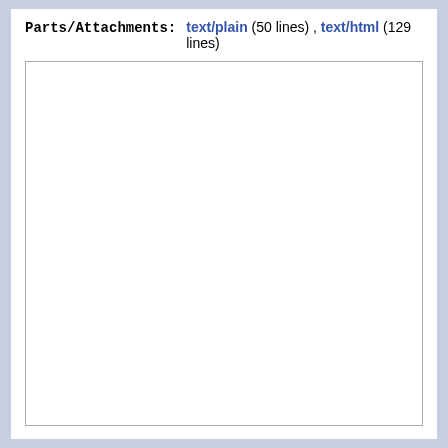Parts/Attachments: text/plain (50 lines) , text/html (129 lines)
[Figure (other): Empty white content box with a light grey border, representing a blank email body or attachment preview area.]